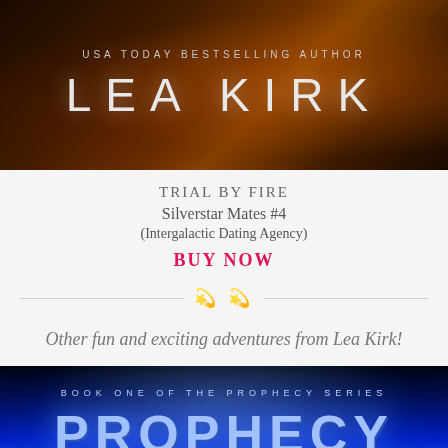[Figure (illustration): Dark space/planet background with author name 'LEA KIRK' and subtitle 'USA TODAY BESTSELLING AUTHOR' in metallic silver letters]
TRIAL BY FIRE
Silverstar Mates #4
(Intergalactic Dating Agency)
BUY NOW
[Figure (illustration): Decorative divider with ornamental swirl motifs flanked by horizontal lines]
Other fun and exciting adventures from Lea Kirk!
[Figure (illustration): Blue space background book cover with 'BOOK ONE OF THE PROPHECY SERIES' and large title 'PROPHECY' in glowing blue metallic letters]